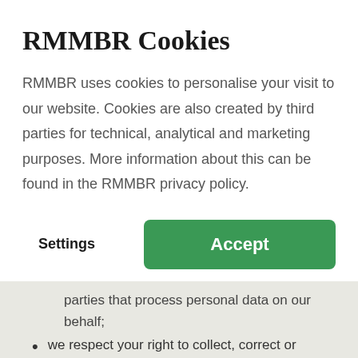RMMBR Cookies
RMMBR uses cookies to personalise your visit to our website. Cookies are also created by third parties for technical, analytical and marketing purposes. More information about this can be found in the RMMBR privacy policy.
Settings
Accept
parties that process personal data on our behalf;
we respect your right to collect, correct or delete your personal data at your request.
RMMBR is responsible for data processing. In this